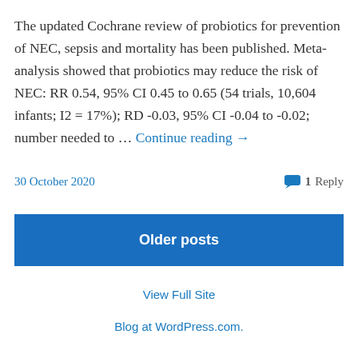The updated Cochrane review of probiotics for prevention of NEC, sepsis and mortality has been published. Meta-analysis showed that probiotics may reduce the risk of NEC: RR 0.54, 95% CI 0.45 to 0.65 (54 trials, 10,604 infants; I2 = 17%); RD -0.03, 95% CI -0.04 to -0.02; number needed to … Continue reading →
30 October 2020
1 Reply
Older posts
View Full Site
Blog at WordPress.com.